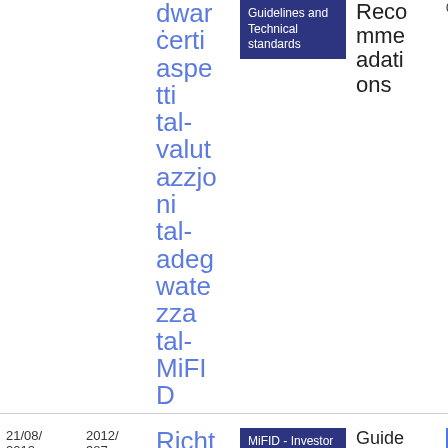| Date | Ref | Title | Topic | Type | Size |
| --- | --- | --- | --- | --- | --- |
|  |  | dwar ċerti aspetti tal-valutazzjoni tal-adegwatezza tal-MiFID | Guidelines and Technical standards | Recommendations | 0.2 KB |
| 21/08/2012 | 2012/387 NL | Richtsnoe ren met betr ekki | MiFID - Investor Protection / Guidelines and Technical standards | Guide lines & Recommendations adati | 35
5.02 KB
PDF |